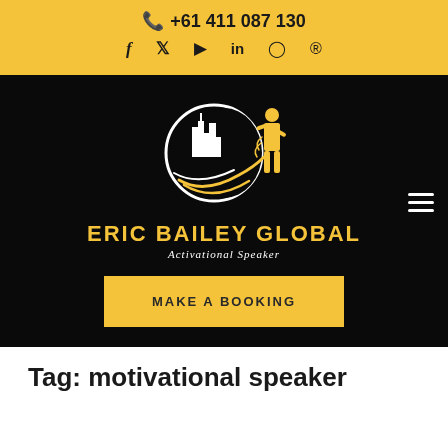+61 411 087 130
[Figure (logo): Eric Bailey Global logo: circular city skyline with man silhouette in gold, white crescent and swoosh, with text ERIC BAILEY GLOBAL Activational Speaker]
MAKE A BOOKING
Tag: motivational speaker